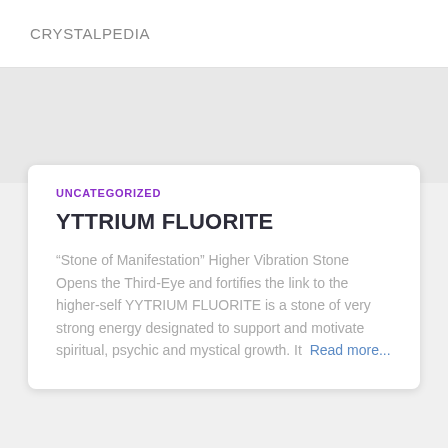CRYSTALPEDIA
UNCATEGORIZED
YTTRIUM FLUORITE
“Stone of Manifestation” Higher Vibration Stone Opens the Third-Eye and fortifies the link to the higher-self YYTRIUM FLUORITE is a stone of very strong energy designated to support and motivate spiritual, psychic and mystical growth. It Read more...